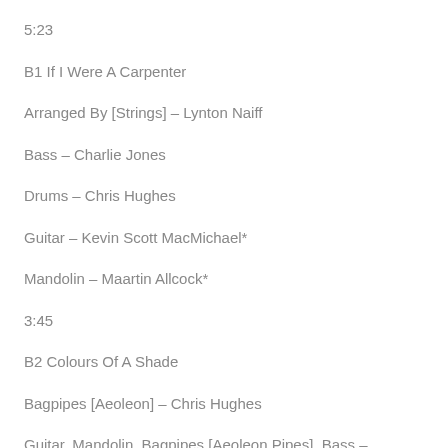5:23
B1 If I Were A Carpenter
Arranged By [Strings] – Lynton Naiff
Bass – Charlie Jones
Drums – Chris Hughes
Guitar – Kevin Scott MacMichael*
Mandolin – Maartin Allcock*
3:45
B2 Colours Of A Shade
Bagpipes [Aeoleon] – Chris Hughes
Guitar, Mandolin, Bagpipes [Aeoleon Pipes], Bass –